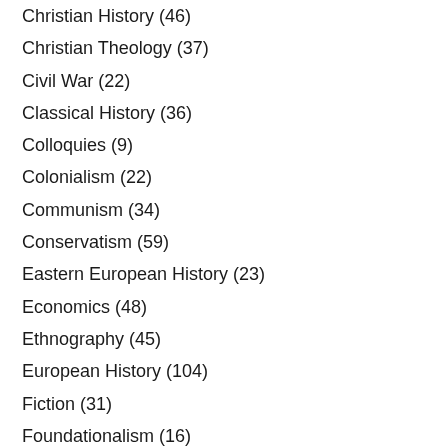Christian History (46)
Christian Theology (37)
Civil War (22)
Classical History (36)
Colloquies (9)
Colonialism (22)
Communism (34)
Conservatism (59)
Eastern European History (23)
Economics (48)
Ethnography (45)
European History (104)
Fiction (31)
Foundationalism (16)
Gardening & Farming (9)
Great Divergence (32)
Great Fragmentation (40)
Guns (11)